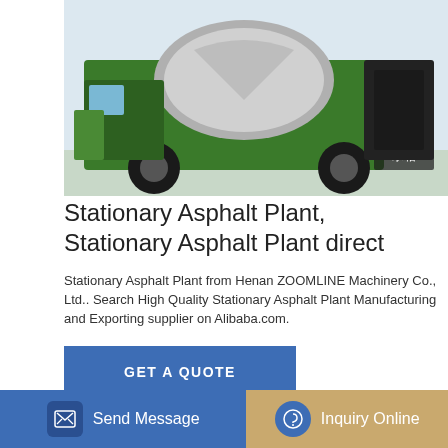[Figure (photo): Green self-loading concrete mixer truck, top portion showing drum and chassis with Chinese text 水箱]
Stationary Asphalt Plant, Stationary Asphalt Plant direct
Stationary Asphalt Plant from Henan ZOOMLINE Machinery Co., Ltd.. Search High Quality Stationary Asphalt Plant Manufacturing and Exporting supplier on Alibaba.com.
GET A QUOTE
[Figure (photo): Green self-loading concrete mixer truck, front angle showing rotating drum with black and white coloring and green stripe]
Send Message
Inquiry Online